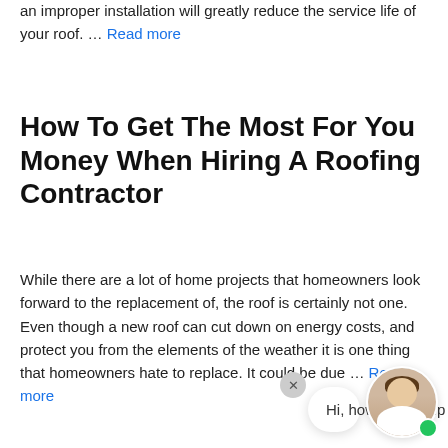an improper installation will greatly reduce the service life of your roof. … Read more
How To Get The Most For You Money When Hiring A Roofing Contractor
While there are a lot of home projects that homeowners look forward to the replacement of, the roof is certainly not one. Even though a new roof can cut down on energy costs, and protect you from the elements of the weather it is one thing that homeowners hate to replace. It could be due … Read more